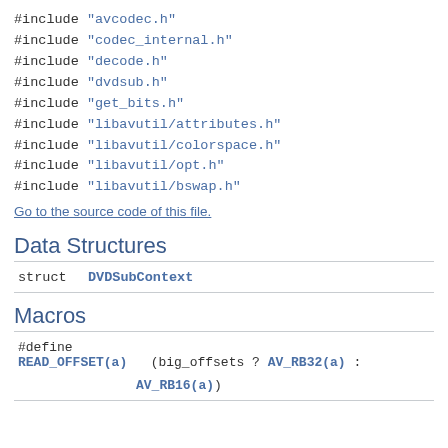#include "avcodec.h"
#include "codec_internal.h"
#include "decode.h"
#include "dvdsub.h"
#include "get_bits.h"
#include "libavutil/attributes.h"
#include "libavutil/colorspace.h"
#include "libavutil/opt.h"
#include "libavutil/bswap.h"
Go to the source code of this file.
Data Structures
|  |  |
| --- | --- |
| struct | DVDSubContext |
Macros
|  |  |
| --- | --- |
| #define | READ_OFFSET(a)   (big_offsets ? AV_RB32(a) : AV_RB16(a)) |